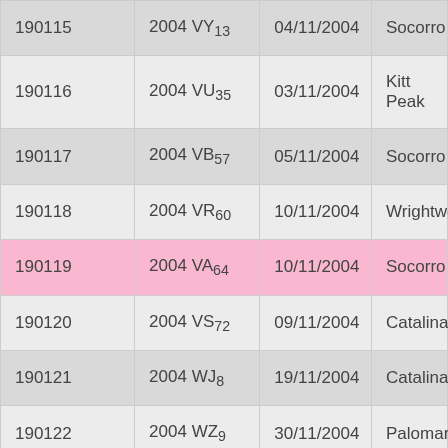| 190115 | 2004 VY13 | 04/11/2004 | Socorro |
| 190116 | 2004 VU35 | 03/11/2004 | Kitt Peak |
| 190117 | 2004 VB57 | 05/11/2004 | Socorro |
| 190118 | 2004 VR60 | 10/11/2004 | Wrightwood |
| 190119 | 2004 VA64 | 10/11/2004 | Socorro |
| 190120 | 2004 VS72 | 09/11/2004 | Catalina |
| 190121 | 2004 WJ8 | 19/11/2004 | Catalina |
| 190122 | 2004 WZ9 | 30/11/2004 | Palomar |